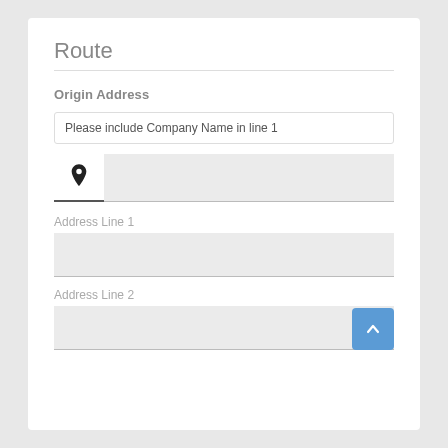Route
Origin Address
Please include Company Name in line 1
Address Line 1
Address Line 2